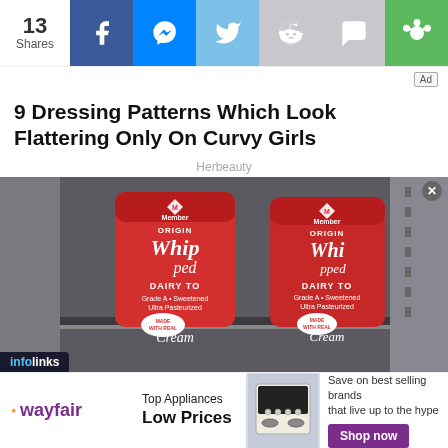13 Shares — social share bar with Facebook, Messenger, Twitter, Reddit, SMS, Copy icons
[Figure (screenshot): Advertisement badge top right]
9 Dressing Patterns Which Look Flattering Only On Curvy Girls
Herbeauty
[Figure (photo): Two red cans of Members Mark Original Whipped Dairy Topping on a store shelf]
[Figure (infographic): Wayfair advertisement banner: Top Appliances Low Prices — Save on best selling brands that live up to the hype — Shop now button]